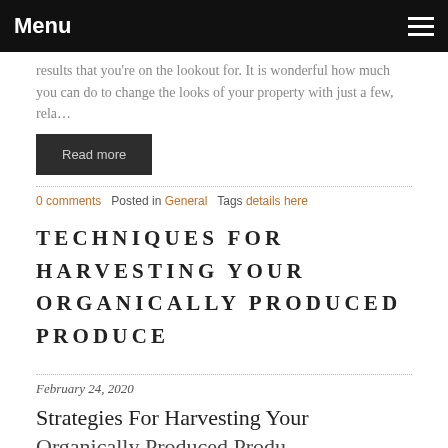Menu
results that you're on the lookout for. It is wonderful how much you can do to change the looks of your property with just a few, rela…
Read more
0 comments   Posted in General   Tags details here
TECHNIQUES FOR HARVESTING YOUR ORGANICALLY PRODUCED PRODUCE
February 24, 2020
Strategies For Harvesting Your Organically Produced Produce